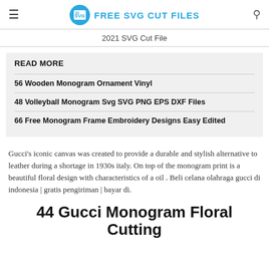FREE SVG CUT FILES
2021 SVG Cut File
READ MORE
56 Wooden Monogram Ornament Vinyl
48 Volleyball Monogram Svg SVG PNG EPS DXF Files
66 Free Monogram Frame Embroidery Designs Easy Edited
Gucci's iconic canvas was created to provide a durable and stylish alternative to leather during a shortage in 1930s italy. On top of the monogram print is a beautiful floral design with characteristics of a oil . Beli celana olahraga gucci di indonesia | gratis pengiriman | bayar di.
44 Gucci Monogram Floral Cutting